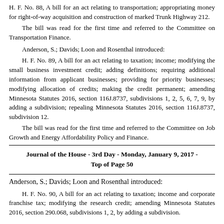H. F. No. 88, A bill for an act relating to transportation; appropriating money for right-of-way acquisition and construction of marked Trunk Highway 212.
The bill was read for the first time and referred to the Committee on Transportation Finance.
Anderson, S.; Davids; Loon and Rosenthal introduced:
H. F. No. 89, A bill for an act relating to taxation; income; modifying the small business investment credit; adding definitions; requiring additional information from applicant businesses; providing for priority businesses; modifying allocation of credits; making the credit permanent; amending Minnesota Statutes 2016, section 116J.8737, subdivisions 1, 2, 5, 6, 7, 9, by adding a subdivision; repealing Minnesota Statutes 2016, section 116J.8737, subdivision 12.
The bill was read for the first time and referred to the Committee on Job Growth and Energy Affordability Policy and Finance.
Journal of the House - 3rd Day - Monday, January 9, 2017 - Top of Page 50
Anderson, S.; Davids; Loon and Rosenthal introduced:
H. F. No. 90, A bill for an act relating to taxation; income and corporate franchise tax; modifying the research credit; amending Minnesota Statutes 2016, section 290.068, subdivisions 1, 2, by adding a subdivision.